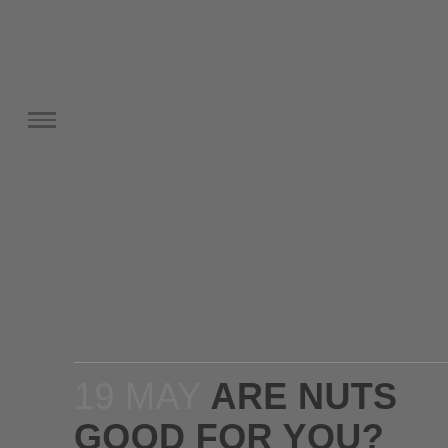[Figure (other): Hamburger menu icon (three horizontal lines) in dark gray on a gray background]
19 MAY ARE NUTS GOOD FOR YOU?